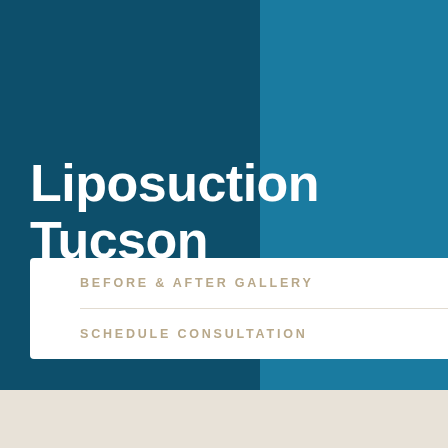Liposuction Tucson
BEFORE & AFTER GALLERY
SCHEDULE CONSULTATION